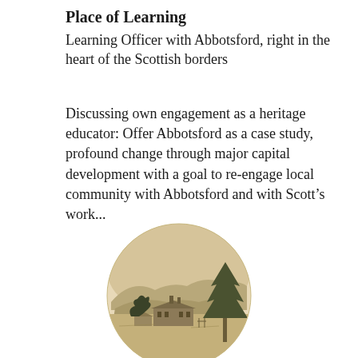Place of Learning
Learning Officer with Abbotsford, right in the heart of the Scottish borders
Discussing own engagement as a heritage educator: Offer Abbotsford as a case study, profound change through major capital development with a goal to re-engage local community with Abbotsford and with Scott's work...
[Figure (illustration): A circular sepia-toned engraving illustration showing a historic building (Abbotsford House) in a landscape with hills in the background and trees in the foreground right, rendered in an antique etching style.]